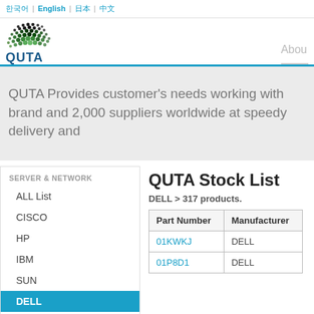한국어 | English | 日本 | 中文
[Figure (logo): QUTA company logo with green dot-matrix graphic above stylized QUTA text]
About
QUTA Provides customer's needs working with brand and 2,000 suppliers worldwide at speedy delivery and
SERVER & NETWORK
ALL List
CISCO
HP
IBM
SUN
DELL
QUTA Stock List
DELL > 317 products.
| Part Number | Manufacturer |
| --- | --- |
| 01KWKJ | DELL |
| 01P8D1 | DELL |